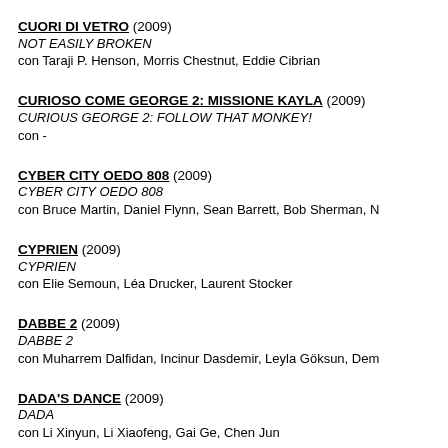CUORI DI VETRO (2009) / NOT EASILY BROKEN / con Taraji P. Henson, Morris Chestnut, Eddie Cibrian
CURIOSO COME GEORGE 2: MISSIONE KAYLA (2009) / CURIOUS GEORGE 2: FOLLOW THAT MONKEY! / con -
CYBER CITY OEDO 808 (2009) / CYBER CITY OEDO 808 / con Bruce Martin, Daniel Flynn, Sean Barrett, Bob Sherman, N
CYPRIEN (2009) / CYPRIEN / con Elie Semoun, Léa Drucker, Laurent Stocker
DABBE 2 (2009) / DABBE 2 / con Muharrem Dalfidan, Incinur Dasdemir, Leyla Göksun, Dem
DADA'S DANCE (2009) / DADA / con Li Xinyun, Li Xiaofeng, Gai Ge, Chen Jun